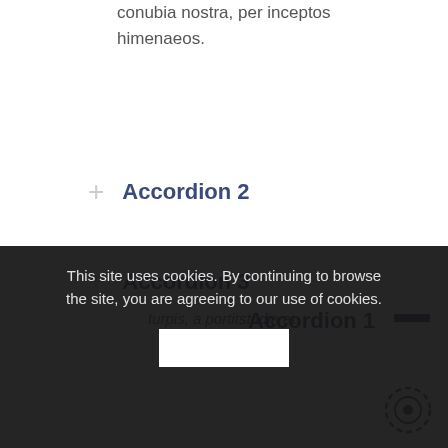conubia nostra, per inceptos himenaeos.
Accordion 2
Accordion 3
Accordion 4
Accordion 1
This site uses cookies. By continuing to browse the site, you are agreeing to our use of cookies.